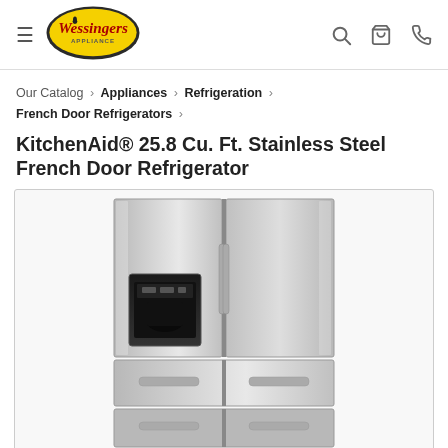[Figure (logo): Wessingers Appliance logo — yellow oval with red script text and dark border]
Our Catalog › Appliances › Refrigeration › French Door Refrigerators ›
KitchenAid® 25.8 Cu. Ft. Stainless Steel French Door Refrigerator
[Figure (photo): KitchenAid stainless steel French door refrigerator with water/ice dispenser on left door and two bottom freezer drawers]